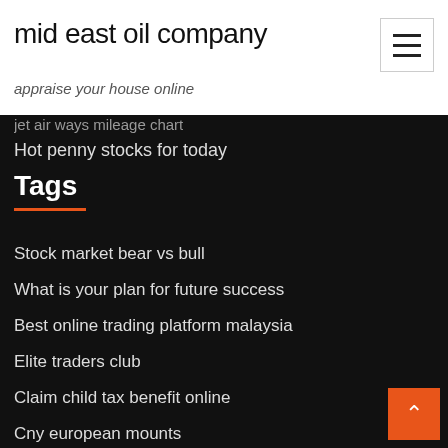mid east oil company
appraise your house online
jet air ways mileage chart
Hot penny stocks for today
Tags
Stock market bear vs bull
What is your plan for future success
Best online trading platform malaysia
Elite traders club
Claim child tax benefit online
Cny european mounts